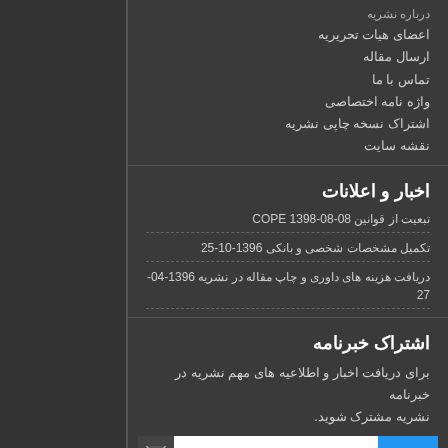درباره نشریه
اعضای هیات تحریریه
ارسال مقاله
تماس با ما
واژه نامه اختصاصی
اشتراک نسخه چاپی نشریه
نقشه سایت
اخبار و اعلانات
تبعیت از قوانین COPE 1398-08-08
تکمیل مشخصات شخصی و بانکی 1396-10-25
دریافت هزینه های داوری و چاپ مقاله در نشریه 1396-04-27
اشتراک خبرنامه
برای دریافت اخبار و اطلاعیه های مهم نشریه در خبرنامه نشریه مشترک شوید.
اشتراک